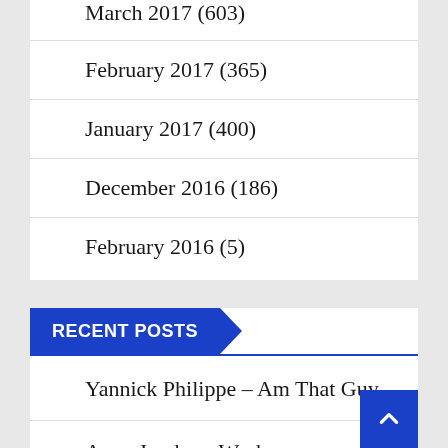March 2017 (603)
February 2017 (365)
January 2017 (400)
December 2016 (186)
February 2016 (5)
RECENT POSTS
Yannick Philippe – Am That Guy
Apex Jumbo – Work